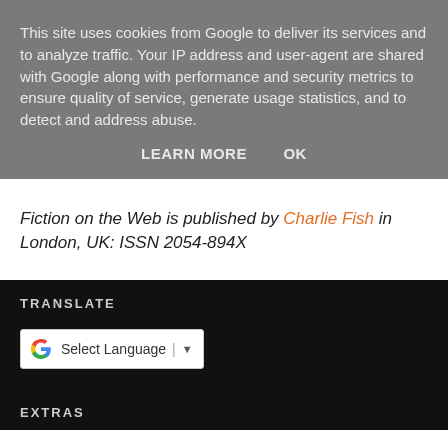This site uses cookies from Google to deliver its services and to analyze traffic. Your IP address and user-agent are shared with Google along with performance and security metrics to ensure quality of service, generate usage statistics, and to detect and address abuse.
LEARN MORE   OK
Fiction on the Web is published by Charlie Fish in London, UK: ISSN 2054-894X
TRANSLATE
[Figure (other): Google Translate widget button showing G logo and Select Language dropdown]
EXTRAS